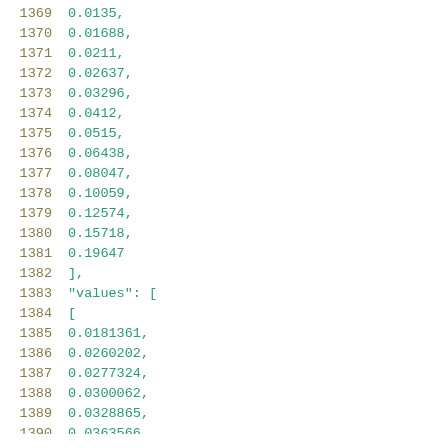Code listing lines 1369-1390 showing numeric array values: 0.0135, 0.01688, 0.0211, 0.02637, 0.03296, 0.0412, 0.0515, 0.06438, 0.08047, 0.10059, 0.12574, 0.15718, 0.19647 ], "values": [ [ 0.0181361, 0.0260202, 0.0277324, 0.0300062, 0.0328865, 0.0363566